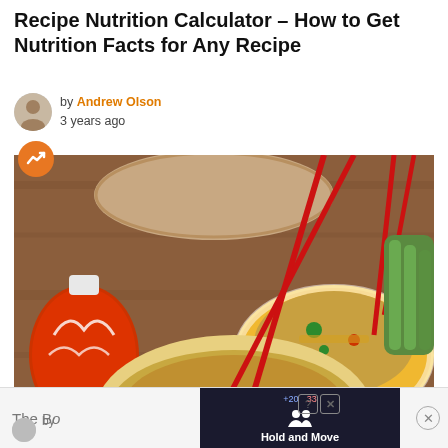Recipe Nutrition Calculator – How to Get Nutrition Facts for Any Recipe
by Andrew Olson
3 years ago
[Figure (photo): Food photo showing bowls of rice or grain dishes with red chopsticks, a hot sauce bottle, and vegetables on a wooden table]
987 Shares
The B[o]
by
Hold and Move